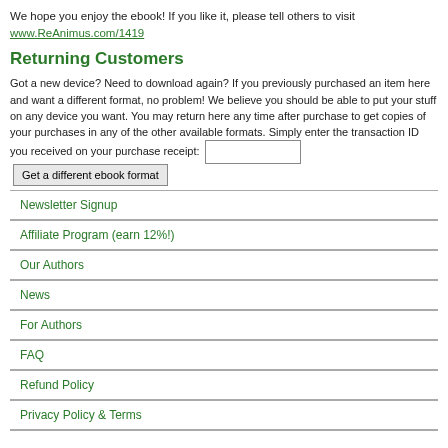We hope you enjoy the ebook! If you like it, please tell others to visit www.ReAnimus.com/1419
Returning Customers
Got a new device? Need to download again? If you previously purchased an item here and want a different format, no problem! We believe you should be able to put your stuff on any device you want. You may return here any time after purchase to get copies of your purchases in any of the other available formats. Simply enter the transaction ID you received on your purchase receipt: [input] Get a different ebook format
Newsletter Signup
Affiliate Program (earn 12%!)
Our Authors
News
For Authors
FAQ
Refund Policy
Privacy Policy & Terms